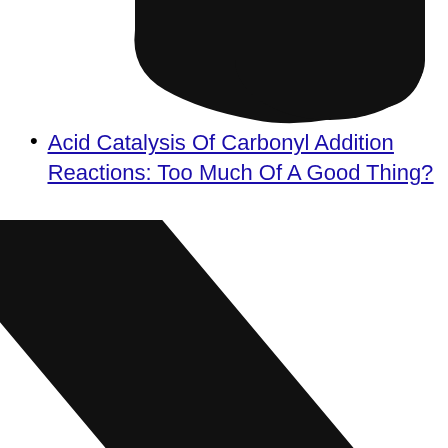[Figure (illustration): Partially visible black rounded rectangular or pill-shaped object, cropped at top, showing the bottom portion against white background]
Acid Catalysis Of Carbonyl Addition Reactions: Too Much Of A Good Thing?
[Figure (illustration): Large black rounded rectangular/pill-shaped object oriented diagonally from upper-left to lower-right, cropped at bottom of page]